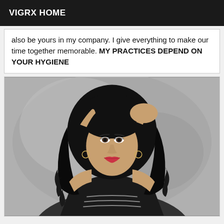VIGRX HOME
also be yours in my company. I give everything to make our time together memorable. MY PRACTICES DEPEND ON YOUR HYGIENE
[Figure (photo): Portrait photo of a woman with long dark curly hair, wearing a black outfit with chain details, posing with hands raised behind her head against a grey background.]